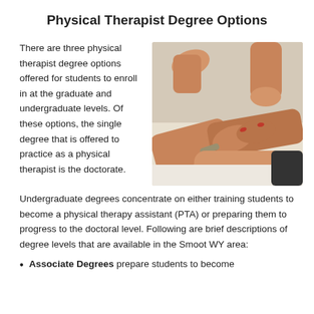Physical Therapist Degree Options
There are three physical therapist degree options offered for students to enroll in at the graduate and undergraduate levels. Of these options, the single degree that is offered to practice as a physical therapist is the doctorate. Undergraduate degrees concentrate on either training students to become a physical therapy assistant (PTA) or preparing them to progress to the doctoral level. Following are brief descriptions of degree levels that are available in the Smoot WY area:
[Figure (photo): A physical therapist or practitioner using hands to perform therapy on a patient's lower leg/ankle area, with the patient's feet visible in the background.]
Associate Degrees prepare students to become